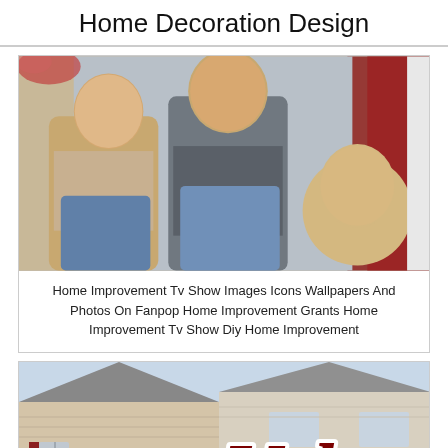Home Decoration Design
[Figure (photo): Photo of children from Home Improvement TV show, three kids sitting together, the youngest girl peaking out from behind]
Home Improvement Tv Show Images Icons Wallpapers And Photos On Fanpop Home Improvement Grants Home Improvement Tv Show Diy Home Improvement
[Figure (photo): Photo of suburban houses with siding and rooftops, with large cursive 'Value' text overlay in dark red with white outline]